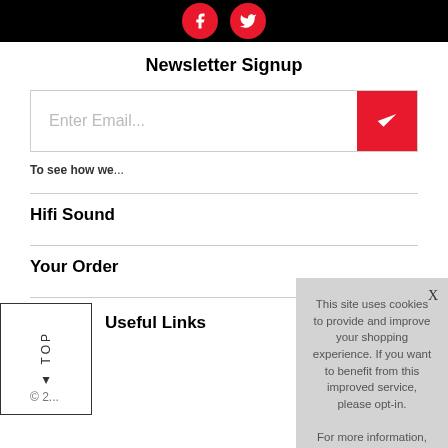[Figure (screenshot): Top black navigation bar with two red circular social media buttons (Facebook and Twitter/Pinterest)]
Newsletter Signup
[Figure (screenshot): Email input field with placeholder 'Enter Email...' and red checkmark submit button]
To see how we...
Hifi Sound
Your Order
Useful Links
© 2...
[Figure (screenshot): Cookie consent overlay popup with message: 'This site uses cookies to provide and improve your shopping experience. If you want to benefit from this improved service, please opt-in. For more information, please see our Cookies Page Cookies Page.' with opt-in text and Accept Cookies button]